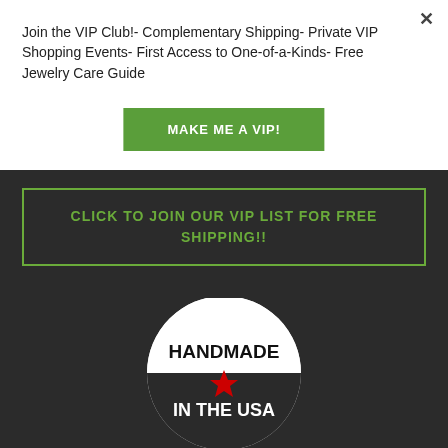Join the VIP Club!- Complementary Shipping- Private VIP Shopping Events- First Access to One-of-a-Kinds- Free Jewelry Care Guide
MAKE ME A VIP!
CLICK TO JOIN OUR VIP LIST FOR FREE SHIPPING!!
[Figure (logo): Circular badge logo with white top half reading HANDMADE and dark bottom half reading IN THE USA, with a red star in the center]